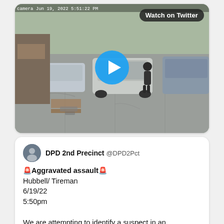[Figure (screenshot): Security camera / CCTV footage screenshot showing a parking lot with a silver SUV, a person standing nearby, and other vehicles. A blue play button circle is overlaid in the center. Top right shows 'Watch on Twitter' label on dark rounded rectangle. Timestamp visible top left.]
DPD 2nd Precinct @DPD2Pct
🚨Aggravated assault🚨
Hubbell/ Tireman
6/19/22
5:50pm

We are attempting to identify a suspect in an aggravated assault. If you recognize the suspect with the tan bucket hat and white A-shirt, please contact Detective Rice 313-596-5240 or call 1-800-SPEAK-